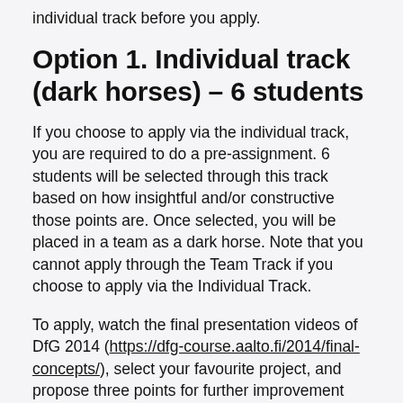individual track before you apply.
Option 1. Individual track (dark horses) – 6 students
If you choose to apply via the individual track, you are required to do a pre-assignment. 6 students will be selected through this track based on how insightful and/or constructive those points are. Once selected, you will be placed in a team as a dark horse. Note that you cannot apply through the Team Track if you choose to apply via the Individual Track.
To apply, watch the final presentation videos of DfG 2014 (https://dfg-course.aalto.fi/2014/final-concepts/), select your favourite project, and propose three points for further improvement